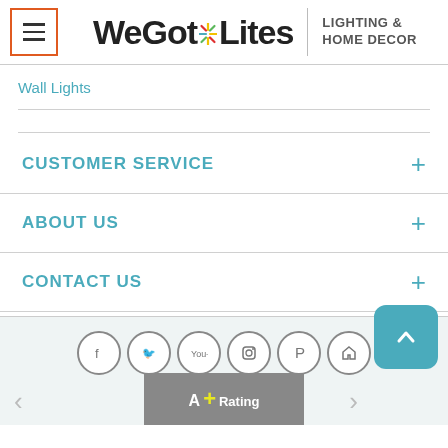WeGotLites LIGHTING & HOME DECOR
Wall Lights
CUSTOMER SERVICE
ABOUT US
CONTACT US
[Figure (other): Social media icons: Facebook, Twitter, YouTube, Instagram, Pinterest, Houzz; back to top button; BBB A+ Rating badge]